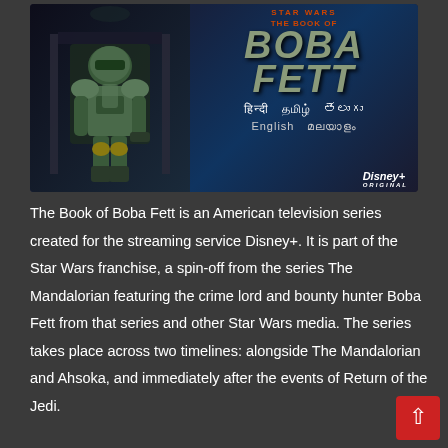[Figure (illustration): The Book of Boba Fett Disney+ promotional poster showing Boba Fett in armour seated on a throne on the left side, and the show title 'Star Wars: The Book of Boba Fett' in large stylized text on the right. Below the title are language options: Hindi, Tamil, Telugu, English, Malayalam. Disney+ Original logo in bottom right.]
The Book of Boba Fett is an American television series created for the streaming service Disney+. It is part of the Star Wars franchise, a spin-off from the series The Mandalorian featuring the crime lord and bounty hunter Boba Fett from that series and other Star Wars media. The series takes place across two timelines: alongside The Mandalorian and Ahsoka, and immediately after the events of Return of the Jedi.